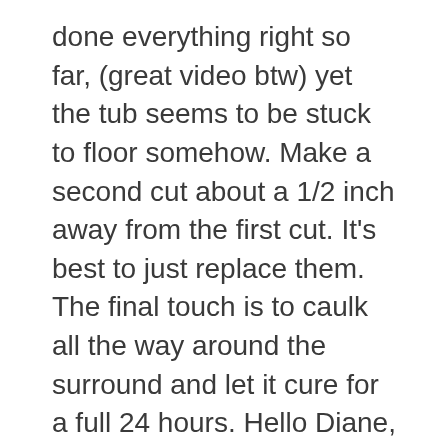done everything right so far, (great video btw) yet the tub seems to be stuck to floor somehow. Make a second cut about a 1/2 inch away from the first cut. It's best to just replace them. The final touch is to caulk all the way around the surround and let it cure for a full 24 hours. Hello Diane, You may not know this, but in the UK we call a Tub - a . Cut through the threads and the rim of the fitting but not deep enough to go into the tub itself. Go over the whole surround every few minutes and press it into the wall to make sure it stays stuck. Mobile home bathtubs are usually smaller than the tubs you can buy at Lowe's or Home Depot. If it's held in place with plastic rivets you can just cut the heads off with